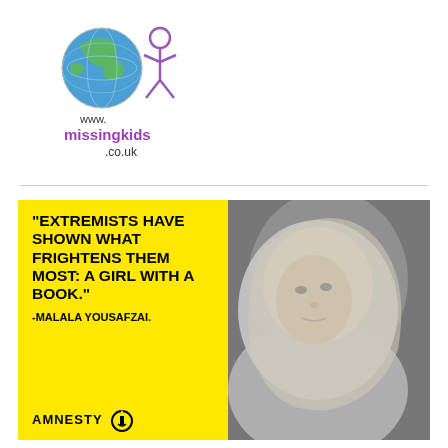[Figure (logo): missingkids.co.uk logo with globe and child figure icons, purple text reading www.missingkids.co.uk]
[Figure (photo): Amnesty International promotional image with yellow box on left containing Malala Yousafzai quote in bold black uppercase text: "Extremists have shown what frightens them most: a girl with a book." -Malala Yousafzai. Amnesty International candle logo at bottom. Black and white photo of Malala Yousafzai wearing hijab on right side.]